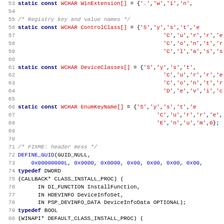[Figure (screenshot): Source code listing in C showing WCHAR static const declarations and typedef definitions, lines 53-85, with syntax highlighting (blue keywords, red identifiers, gray line numbers)]